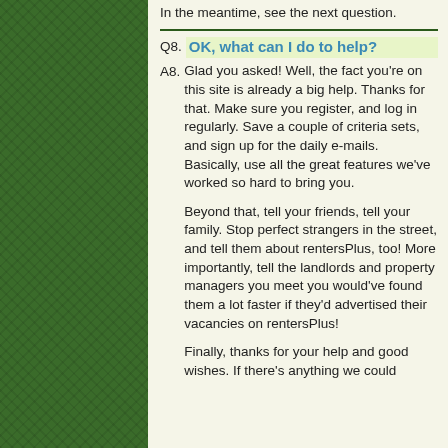In the meantime, see the next question.
Q8. OK, what can I do to help?
A8. Glad you asked! Well, the fact you're on this site is already a big help. Thanks for that. Make sure you register, and log in regularly. Save a couple of criteria sets, and sign up for the daily e-mails. Basically, use all the great features we've worked so hard to bring you.

Beyond that, tell your friends, tell your family. Stop perfect strangers in the street, and tell them about rentersPlus, too! More importantly, tell the landlords and property managers you meet you would've found them a lot faster if they'd advertised their vacancies on rentersPlus!

Finally, thanks for your help and good wishes. If there's anything we could